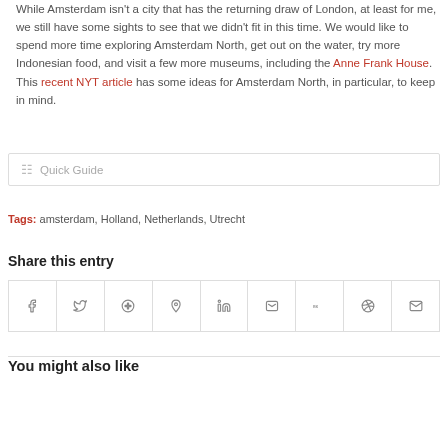While Amsterdam isn't a city that has the returning draw of London, at least for me, we still have some sights to see that we didn't fit in this time. We would like to spend more time exploring Amsterdam North, get out on the water, try more Indonesian food, and visit a few more museums, including the Anne Frank House. This recent NYT article has some ideas for Amsterdam North, in particular, to keep in mind.
Quick Guide
Tags: amsterdam, Holland, Netherlands, Utrecht
Share this entry
[Figure (other): Social sharing icons row: Facebook, Twitter, Google+, Pinterest, LinkedIn, Tumblr, VK, Reddit, Email]
You might also like